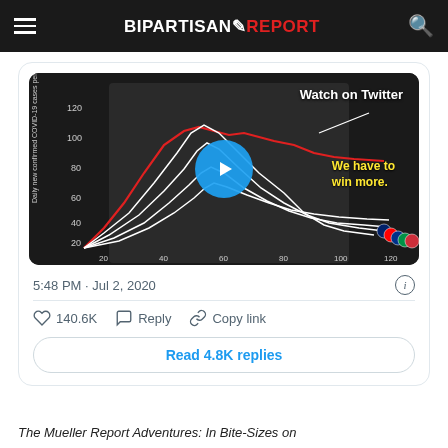BIPARTISAN REPORT
[Figure (screenshot): Embedded tweet card showing a COVID-19 line chart video thumbnail with a play button overlay, text 'Watch on Twitter' and 'We have to win more.']
5:48 PM · Jul 2, 2020
140.6K  Reply  Copy link
Read 4.8K replies
The Mueller Report Adventures: In Bite-Sizes on